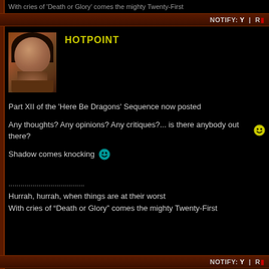With cries of 'Death or Glory' comes the mighty Twenty-First
NOTIFY: Y  |  R...
[Figure (photo): Avatar photo of a woman with dark hair against a brown background]
HOTPOINT
Part XII of the 'Here Be Dragons' Sequence now posted
Any thoughts? Any opinions? Any critiques?... is there anybody out there?
Shadow comes knocking
......................................
Hurrah, hurrah, when things are at their worst
With cries of “Death or Glory” comes the mighty Twenty-First
NOTIFY: Y  |  R...